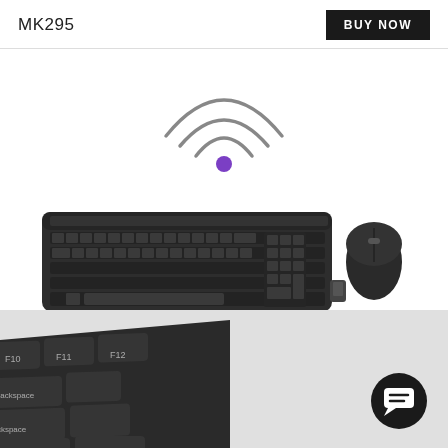MK295
BUY NOW
[Figure (photo): Wireless signal icon (WiFi arcs with purple dot) above a Logitech MK295 wireless keyboard and mouse combo with USB receiver]
[Figure (photo): Close-up angled view of the Logitech MK295 keyboard keys (F10, F11, F12, Backspace visible) on a light grey background, with a dark circular chat/support button icon in the bottom right corner]